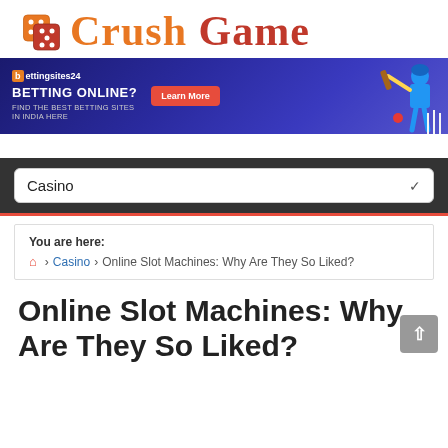[Figure (logo): Crush Game logo with dice icon and orange/red stylized text]
[Figure (infographic): Betting online advertisement banner for bettingsites24, purple gradient background with cricket player graphic, Learn More button]
Casino
You are here:
🏠 > Casino > Online Slot Machines: Why Are They So Liked?
Online Slot Machines: Why Are They So Liked?